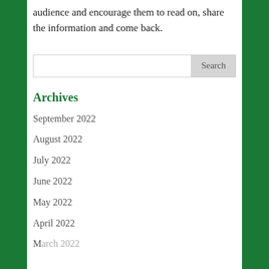audience and encourage them to read on, share the information and come back.
Archives
September 2022
August 2022
July 2022
June 2022
May 2022
April 2022
March 2022